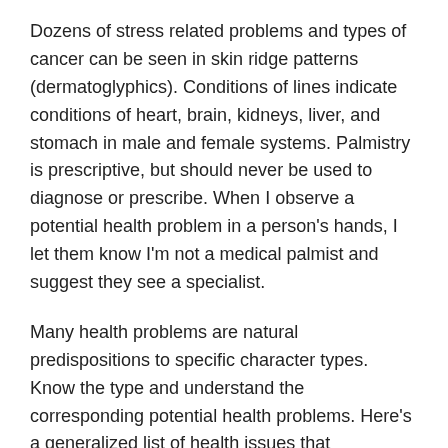Dozens of stress related problems and types of cancer can be seen in skin ridge patterns (dermatoglyphics). Conditions of lines indicate conditions of heart, brain, kidneys, liver, and stomach in male and female systems. Palmistry is prescriptive, but should never be used to diagnose or prescribe. When I observe a potential health problem in a person's hands, I let them know I'm not a medical palmist and suggest they see a specialist.
Many health problems are natural predispositions to specific character types. Know the type and understand the corresponding potential health problems. Here's a generalized list of health issues that correspond to a person's dominant astrological signs and hand features. Click links to learn when and how a finger is dominant and what other qualities in addition to health are represented. The Good News is that forewarned is forearmed! Despite a person's genetics, free will rules over fate.
Sagittarius ~ Dominant index finger ~ blood disorders, liver trouble, diabetes, stroke, high blood pressure, and